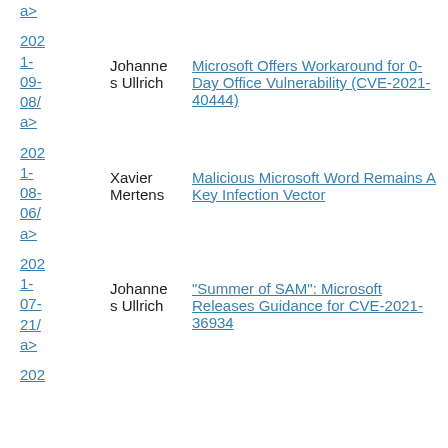2021-09-08/ a> Johannes Ullrich — Microsoft Offers Workaround for 0-Day Office Vulnerability (CVE-2021-40444)
2021-08-06/ a> Xavier Mertens — Malicious Microsoft Word Remains A Key Infection Vector
2021-07-21/ a> Johannes Ullrich — "Summer of SAM": Microsoft Releases Guidance for CVE-2021-36934
202